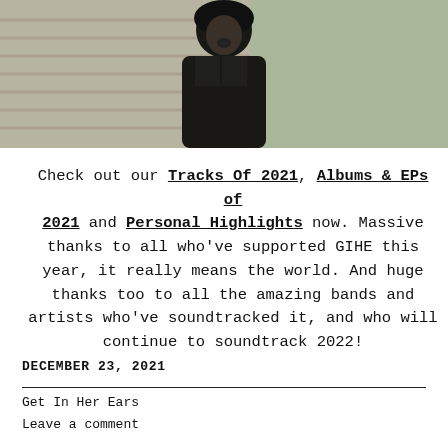[Figure (photo): A dark photo of a person (singer/performer) in a dark jacket, photographed against a light background with what appears to be a wall or backdrop behind them.]
Check out our Tracks Of 2021, Albums & EPs of 2021 and Personal Highlights now. Massive thanks to all who've supported GIHE this year, it really means the world. And huge thanks too to all the amazing bands and artists who've soundtracked it, and who will continue to soundtrack 2022!
DECEMBER 23, 2021
Get In Her Ears
Leave a comment